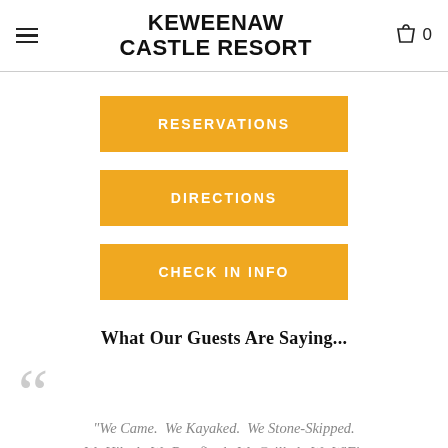KEWEENAW CASTLE RESORT
RESERVATIONS
DIRECTIONS
CHECK IN INFO
What Our Guests Are Saying...
"We Came.  We Kayaked.  We Stone-Skipped.  We Hiked.  We Bon-fired.  We Grilled.  We WiFi-ed.  We Slept Soundly.  We Beach Combed.  We